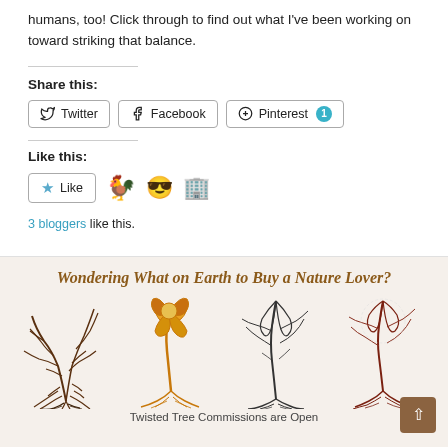humans, too! Click through to find out what I've been working on toward striking that balance.
Share this:
Twitter Facebook Pinterest 1
Like this:
Like
3 bloggers like this.
[Figure (illustration): Promotional banner for Twisted Tree Commissions showing four stylized tree artworks with twisted roots and trunks on a light background. Title: Wondering What on Earth to Buy a Nature Lover?]
Twisted Tree Commissions are Open